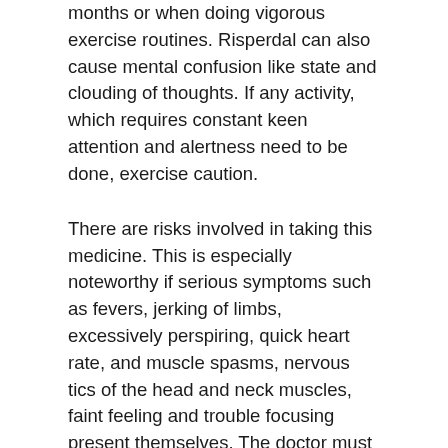months or when doing vigorous exercise routines. Risperdal can also cause mental confusion like state and clouding of thoughts. If any activity, which requires constant keen attention and alertness need to be done, exercise caution.
There are risks involved in taking this medicine. This is especially noteworthy if serious symptoms such as fevers, jerking of limbs, excessively perspiring, quick heart rate, and muscle spasms, nervous tics of the head and neck muscles, faint feeling and trouble focusing present themselves. The doctor must be informed instantly if any of these happen. There can also be wrongful interaction of other drugs that along with taking Risperdal. Consult with the doctor if two different medications can be consumed at once.
Risperdal can contain phenylalanine as a component. If one is a phenylketonuric inform the doctor and also take...